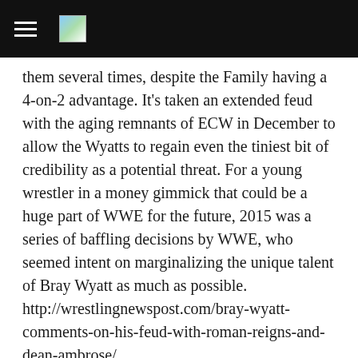[navigation bar with hamburger menu and logo]
them several times, despite the Family having a 4-on-2 advantage. It's taken an extended feud with the aging remnants of ECW in December to allow the Wyatts to regain even the tiniest bit of credibility as a potential threat. For a young wrestler in a money gimmick that could be a huge part of WWE for the future, 2015 was a series of baffling decisions by WWE, who seemed intent on marginalizing the unique talent of Bray Wyatt as much as possible. http://wrestlingnewspost.com/bray-wyatt-comments-on-his-feud-with-roman-reigns-and-dean-ambrose/ Source: wrestlingnewspost.com